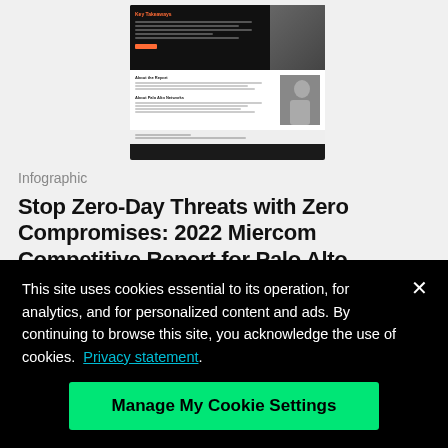[Figure (screenshot): Screenshot thumbnail of a Palo Alto Networks infographic report page with dark header section showing 'Key Takeaways' and a person image, and white body with 'About the Report' and 'About Palo Alto Networks' sections]
Infographic
Stop Zero-Day Threats with Zero Compromises: 2022 Miercom Competitive Report for Palo Alto...
Learn how Palo Alto Networks ML-Powered NGFWs
This site uses cookies essential to its operation, for analytics, and for personalized content and ads. By continuing to browse this site, you acknowledge the use of cookies.  Privacy statement.
Manage My Cookie Settings